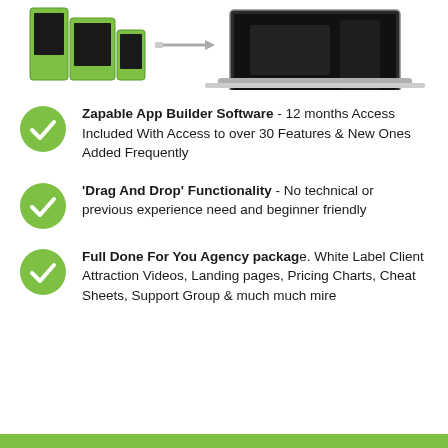[Figure (illustration): Top section showing green app builder software boxes on the left and a laptop on the right with an arrow between them]
Zapable App Builder Software - 12 months Access Included With Access to over 30 Features & New Ones Added Frequently
'Drag And Drop' Functionality - No technical or previous experience need and beginner friendly
Full Done For You Agency package. White Label Client Attraction Videos, Landing pages, Pricing Charts, Cheat Sheets, Support Group & much much mire